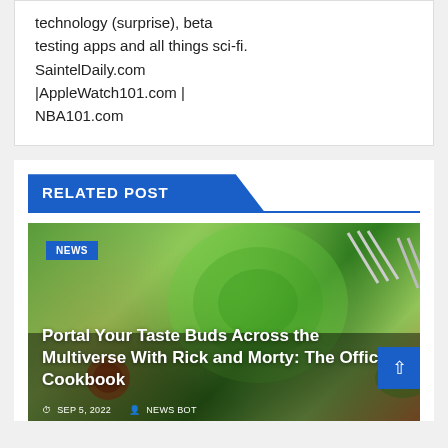technology (surprise), beta testing apps and all things sci-fi. SaintelDaily.com |AppleWatch101.com | NBA101.com
RELATED POST
[Figure (photo): Rick and Morty themed cookbook promotional image with animated characters on colorful background]
Portal Your Taste Buds Across the Multiverse With Rick and Morty: The Official Cookbook
NEWS
SEP 5, 2022   NEWS BOT